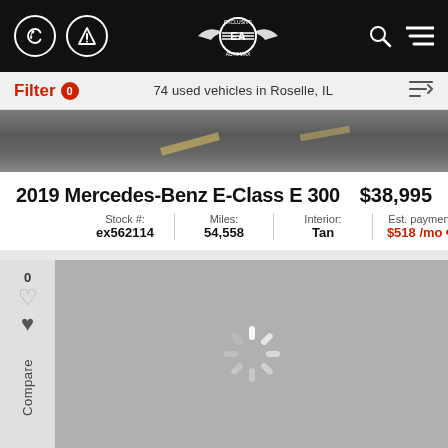Exclusive Automax navigation bar with phone, directions, logo, search and menu icons
Filter 0   74 used vehicles in Roselle, IL
[Figure (photo): Partial road/asphalt photo, top portion of vehicle listing image]
2019 Mercedes-Benz E-Class E 300
$38,995
| Stock # | Miles: | Interior: | Est. payment: |
| --- | --- | --- | --- |
| ex562114 | 54,558 | Tan | $518 /mo |
[Figure (photo): Loading placeholder (grey rectangle with spinner) for vehicle photo]